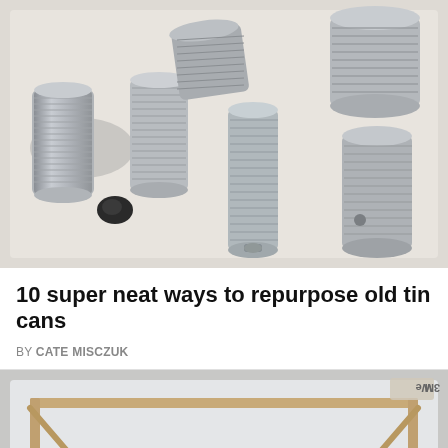[Figure (photo): Multiple empty open-top steel tin cans scattered on a white plastic tray, viewed from above. Cans are silver metallic, various sizes, some upright and some on their sides. A small dark rock is visible at lower left.]
10 super neat ways to repurpose old tin cans
BY CATE MISCZUK
[Figure (photo): Partial view of a small wooden frame or table structure placed inside a white plastic tray or container, with a 3M tape roll visible at upper right corner.]